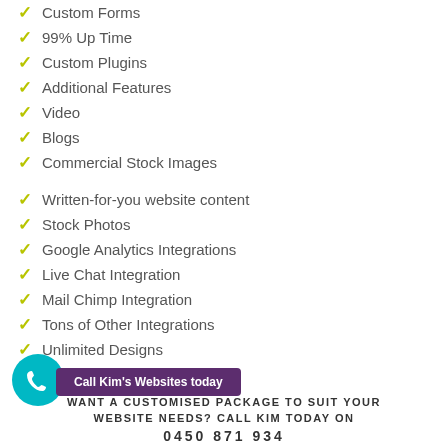Custom Forms
99% Up Time
Custom Plugins
Additional Features
Video
Blogs
Commercial Stock Images
Written-for-you website content
Stock Photos
Google Analytics Integrations
Live Chat Integration
Mail Chimp Integration
Tons of Other Integrations
Unlimited Designs
WANT A CUSTOMISED PACKAGE TO SUIT YOUR WEBSITE NEEDS? CALL KIM TODAY ON 0450 871 934